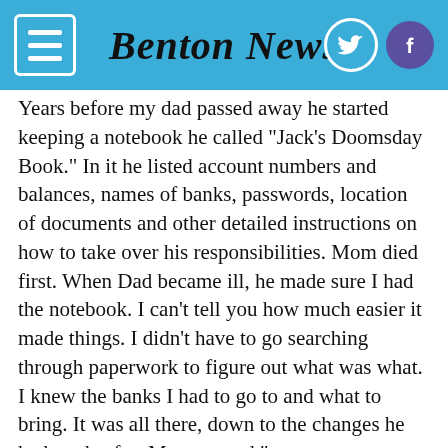Benton News
Years before my dad passed away he started keeping a notebook he called "Jack's Doomsday Book." In it he listed account numbers and balances, names of banks, passwords, location of documents and other detailed instructions on how to take over his responsibilities. Mom died first. When Dad became ill, he made sure I had the notebook. I can't tell you how much easier it made things. I didn't have to go searching through paperwork to figure out what was what. I knew the banks I had to go to and what to bring. It was all there, down to the changes he had made after Mom passed."
What would be a daunting task to our kids, shouldn't be that hard for us to compile. One other thing. Plan you funeral, make it easy for you child to know the service you want and where you plan to be buried. We are old